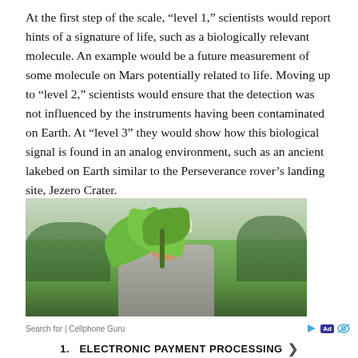At the first step of the scale, “level 1,” scientists would report hints of a signature of life, such as a biologically relevant molecule. An example would be a future measurement of some molecule on Mars potentially related to life. Moving up to “level 2,” scientists would ensure that the detection was not influenced by the instruments having been contaminated on Earth. At “level 3” they would show how this biological signal is found in an analog environment, such as an ancient lakebed on Earth similar to the Perseverance rover’s landing site, Jezero Crater.
[Figure (photo): A person wearing a white hat bends down behind a green plant with large leaves, in an outdoor setting with trees in the background.]
Search for | Cellphone Guru
1.  ELECTRONIC PAYMENT PROCESSING